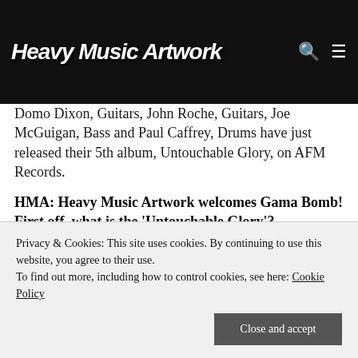Heavy Music Artwork
Domo Dixon, Guitars, John Roche, Guitars, Joe McGuigan, Bass and Paul Caffrey, Drums have just released their 5th album, Untouchable Glory, on AFM Records.
HMA: Heavy Music Artwork welcomes Gama Bomb! First off, what is the 'Untouchable Glory'?
Gama Bomb: It's the biggest album title we could think of.
This is our fifth album, so we really wanted to make it bang with us'.
Privacy & Cookies: This site uses cookies. By continuing to use this website, you agree to their use. To find out more, including how to control cookies, see here: Cookie Policy
Close and accept